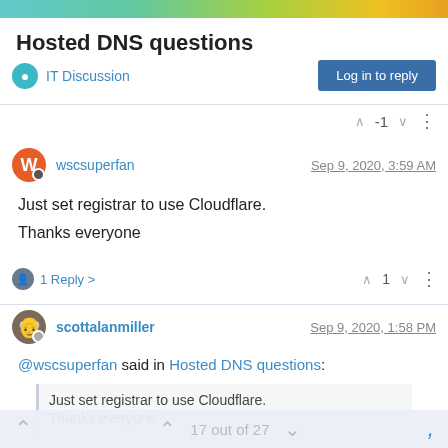Hosted DNS questions - IT Discussion
Hosted DNS questions
IT Discussion
Log in to reply
-1
wscsuperfan Sep 9, 2020, 3:59 AM
Just set registrar to use Cloudflare.

Thanks everyone
1 Reply > 1
scottalanmiller Sep 9, 2020, 1:58 PM
@wscsuperfan said in Hosted DNS questions:
Just set registrar to use Cloudflare.

Thanks everyone
17 out of 27